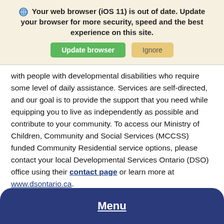Your web browser (iOS 11) is out of date. Update your browser for more security, speed and the best experience on this site.
with people with developmental disabilities who require some level of daily assistance. Services are self-directed, and our goal is to provide the support that you need while equipping you to live as independently as possible and contribute to your community. To access our Ministry of Children, Community and Social Services (MCCSS) funded Community Residential service options, please contact your local Developmental Services Ontario (DSO) office using their contact page or learn more at www.dsontario.ca.
Menu